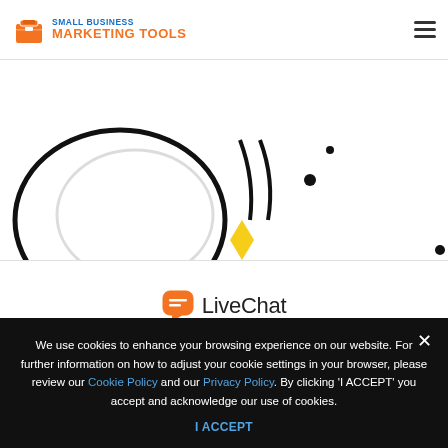Small Business Marketing Tools
[Figure (illustration): Partial view of a decorative illustration showing circular shapes with black outlines and yellow accents, suggesting a stylized graphic or mascot.]
[Figure (logo): LiveChat logo: orange rounded chat bubble icon followed by the text 'LiveChat' in dark gray.]
The fastest way to
We use cookies to enhance your browsing experience on our website. For further information on how to adjust your cookie settings in your browser, please review our Cookie Policy and our Privacy Policy. By clicking 'I ACCEPT' you accept and acknowledge our use of cookies.
I ACCEPT